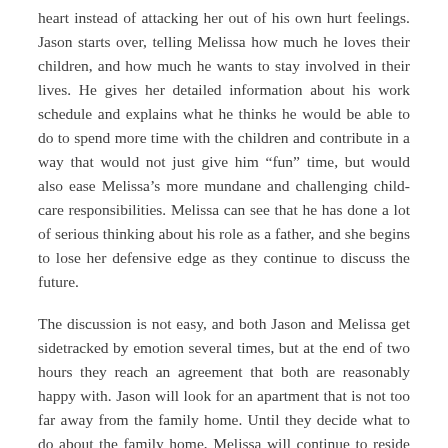heart instead of attacking her out of his own hurt feelings. Jason starts over, telling Melissa how much he loves their children, and how much he wants to stay involved in their lives. He gives her detailed information about his work schedule and explains what he thinks he would be able to do to spend more time with the children and contribute in a way that would not just give him “fun” time, but would also ease Melissa’s more mundane and challenging child-care responsibilities. Melissa can see that he has done a lot of serious thinking about his role as a father, and she begins to lose her defensive edge as they continue to discuss the future.
The discussion is not easy, and both Jason and Melissa get sidetracked by emotion several times, but at the end of two hours they reach an agreement that both are reasonably happy with. Jason will look for an apartment that is not too far away from the family home. Until they decide what to do about the family home, Melissa will continue to reside there. She will have four nights per